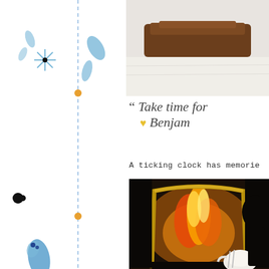[Figure (illustration): Decorative left border strip with blue floral/botanical watercolor illustrations, vertical dashed blue line, and small orange/red/black dot accents at intervals]
[Figure (photo): Top photo showing a wooden object (clock or frame top) against a white/fur background, partial view from above]
" Take time for
♥ Benjam
A ticking clock has memorie
[Figure (photo): Photo of a fireplace with flames visible through an ornate brass/gold framed fire screen, with a white teapot and silverware in the foreground, warm and cozy atmosphere]